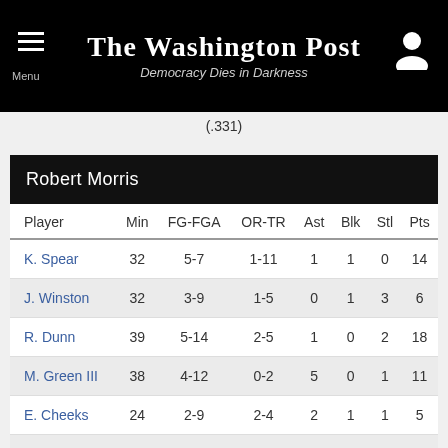The Washington Post — Democracy Dies in Darkness
(.331)
| Player | Min | FG-FGA | OR-TR | Ast | Blk | Stl | Pts |
| --- | --- | --- | --- | --- | --- | --- | --- |
| K. Spear | 32 | 5-7 | 1-11 | 1 | 1 | 0 | 14 |
| J. Winston | 32 | 3-9 | 1-5 | 0 | 1 | 3 | 6 |
| R. Dunn | 39 | 5-14 | 2-5 | 1 | 0 | 2 | 18 |
| M. Green III | 38 | 4-12 | 0-2 | 5 | 0 | 1 | 11 |
| E. Cheeks | 24 | 2-9 | 2-4 | 2 | 1 | 1 | 5 |
| J. Williams | 33 | 4-6 | 2-3 | 3 | 0 | 1 | 9 |